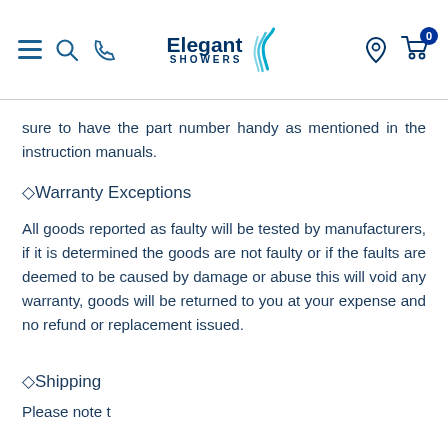Elegant Showers — navigation header with menu, search, phone, logo, location and cart icons
sure to have the part number handy as mentioned in the instruction manuals.
◇Warranty Exceptions
All goods reported as faulty will be tested by manufacturers, if it is determined the goods are not faulty or if the faults are deemed to be caused by damage or abuse this will void any warranty, goods will be returned to you at your expense and no refund or replacement issued.
◇Shipping
Please note that the below text is cut off at the bottom of the page.